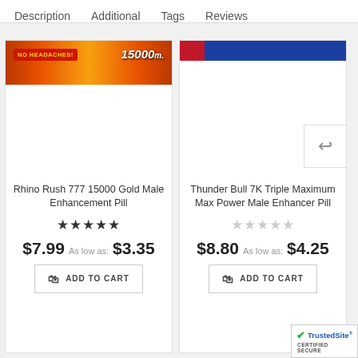Description   Additional   Tags   Reviews
[Figure (photo): Rhino Rush 777 15000 Gold Male Enhancement Pill product image with fire background, 'NO HEADACHES!' badge in red, and '15000 m.' text in white on gold/orange flame background]
Rhino Rush 777 15000 Gold Male Enhancement Pill
★★★★★
$7.99  As low as: $3.35
ADD TO CART
[Figure (photo): Thunder Bull 7K Triple Maximum Max Power Male Enhancer Pill product image with blue/red top strip, mostly white background]
Thunder Bull 7K Triple Maximum Max Power Male Enhancer Pill
☆☆☆☆☆
$8.80  As low as: $4.25
ADD TO CART
[Figure (logo): TrustedSite CERTIFIED SECURE badge with green checkmark]